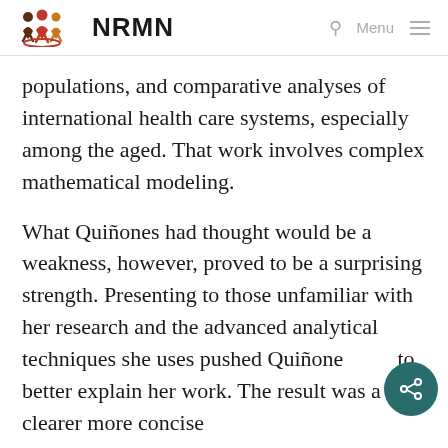NRMN
populations, and comparative analyses of international health care systems, especially among the aged. That work involves complex mathematical modeling.
What Quiñones had thought would be a weakness, however, proved to be a surprising strength. Presenting to those unfamiliar with her research and the advanced analytical techniques she uses pushed Quiñones to better explain her work. The result was a clearer more concise...